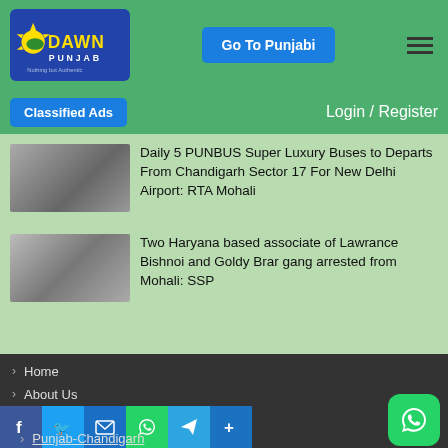[Figure (logo): Dawn Punjab logo - blue background with yellow DAWN text and PUNJAB below, tagline Nothing but Authentic]
Go To Punjabi
Classified Ads
Login / Register
Daily 5 PUNBUS Super Luxury Buses to Departs From Chandigarh Sector 17 For New Delhi Airport: RTA Mohali
Two Haryana based associate of Lawrance Bishnoi and Goldy Brar gang arrested from Mohali: SSP
Home
About Us
Contact Us
Privacy Policy
Punjab-Chandigarh